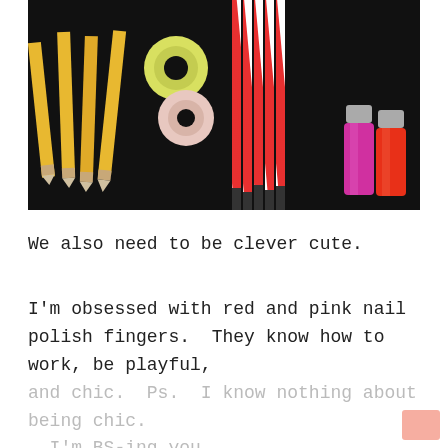[Figure (photo): Photo on dark background showing yellow pencils on the left, two rolls of washi tape (yellow-green and pink) in the middle-left, red and white striped paper straws in the center, and two nail polish bottles (pink and red/orange) on the right.]
We also need to be clever cute.
I'm obsessed with red and pink nail polish fingers.  They know how to work, be playful, and chic.  Ps.  I know nothing about being chic.   I'm BS-ing you.